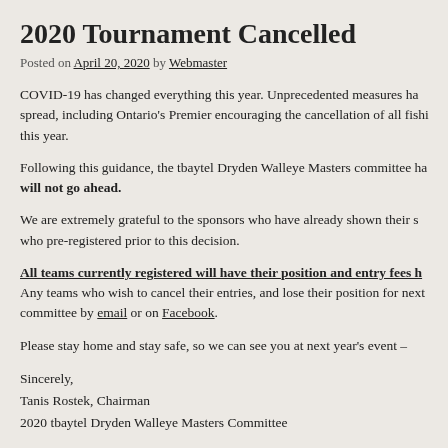2020 Tournament Cancelled
Posted on April 20, 2020 by Webmaster
COVID-19 has changed everything this year. Unprecedented measures ha… spread, including Ontario's Premier encouraging the cancellation of all fishi… this year.
Following this guidance, the tbaytel Dryden Walleye Masters committee ha… will not go ahead.
We are extremely grateful to the sponsors who have already shown their s… who pre-registered prior to this decision.
All teams currently registered will have their position and entry fees h… Any teams who wish to cancel their entries, and lose their position for next… committee by email or on Facebook.
Please stay home and stay safe, so we can see you at next year's event –
Sincerely,
Tanis Rostek, Chairman
2020 tbaytel Dryden Walleye Masters Committee